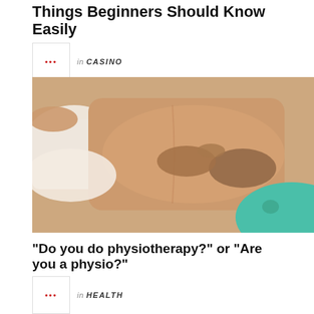Things Beginners Should Know Easily
in CASINO
[Figure (photo): A massage therapist performing back massage on a person lying face down, with white towels visible. The therapist wears teal/turquoise clothing.]
“Do you do physiotherapy?” or “Are you a physio?”
in HEALTH